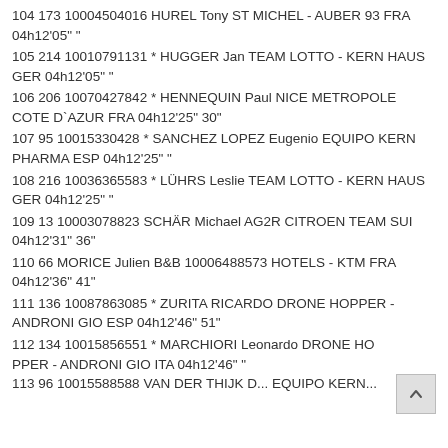104 173 10004504016 HUREL Tony ST MICHEL - AUBER 93 FRA 04h12'05" "
105 214 10010791131 * HUGGER Jan TEAM LOTTO - KERN HAUS GER 04h12'05" "
106 206 10070427842 * HENNEQUIN Paul NICE METROPOLE COTE D`AZUR FRA 04h12'25" 30"
107 95 10015330428 * SANCHEZ LOPEZ Eugenio EQUIPO KERN PHARMA ESP 04h12'25" "
108 216 10036365583 * LÜHRS Leslie TEAM LOTTO - KERN HAUS GER 04h12'25" "
109 13 10003078823 SCHÄR Michael AG2R CITROEN TEAM SUI 04h12'31" 36"
110 66 MORICE Julien B&B 10006488573 HOTELS - KTM FRA 04h12'36" 41"
111 136 10087863085 * ZURITA RICARDO DRONE HOPPER - ANDRONI GIO ESP 04h12'46" 51"
112 134 10015856551 * MARCHIORI Leonardo DRONE HOPPER - ANDRONI GIO ITA 04h12'46" "
113 96 10015588588 VAN DER THIJK D... EQUIPO KERN...